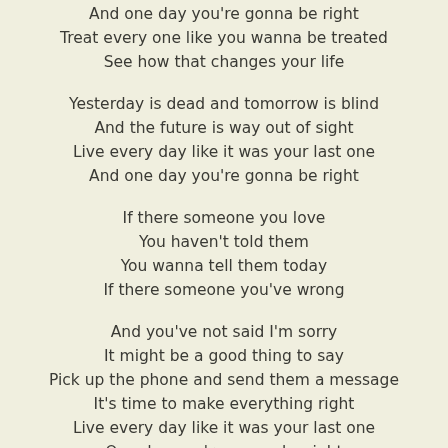And one day you're gonna be right
Treat every one like you wanna be treated
See how that changes your life

Yesterday is dead and tomorrow is blind
And the future is way out of sight
Live every day like it was your last one
And one day you're gonna be right

If there someone you love
You haven't told them
You wanna tell them today
If there someone you've wrong

And you've not said I'm sorry
It might be a good thing to say
Pick up the phone and send them a message
It's time to make everything right
Live every day like it was your last one
One day you're gonna be right

Live every day like it was your last one
And one day you're gonna be right